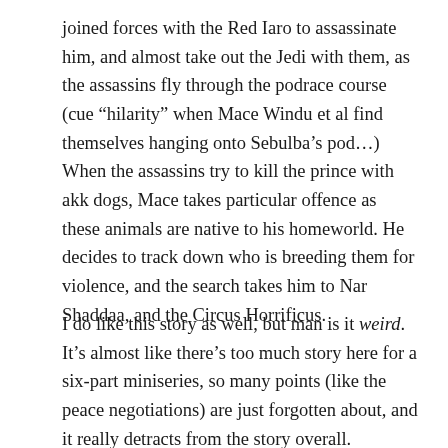joined forces with the Red Iaro to assassinate him, and almost take out the Jedi with them, as the assassins fly through the podrace course (cue “hilarity” when Mace Windu et al find themselves hanging onto Sebulba’s pod…) When the assassins try to kill the prince with akk dogs, Mace takes particular offence as these animals are native to his homeworld. He decides to track down who is breeding them for violence, and the search takes him to Nar Shaddaa, and the Circus Horrificus.
I do like this story as well, but man is it weird. It’s almost like there’s too much story here for a six-part miniseries, so many points (like the peace negotiations) are just forgotten about, and it really detracts from the story overall. However, it is notable